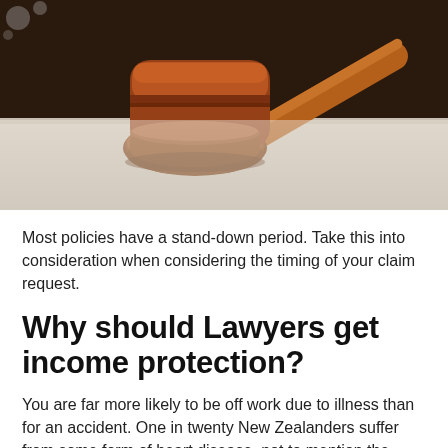[Figure (photo): Close-up photo of a wooden judge's gavel resting on a wooden sound block on a light-colored surface, with a dark background.]
Most policies have a stand-down period. Take this into consideration when considering the timing of your claim request.
Why should Lawyers get income protection?
You are far more likely to be off work due to illness than for an accident. One in twenty New Zealanders suffer from some form of heart disease, not to mention the prevalence